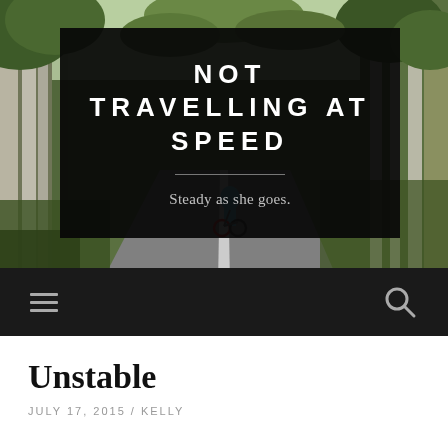[Figure (photo): Forest road photo with tall gum trees on both sides, a cyclist visible in the distance on a two-lane road, and lush green foliage. A dark semi-transparent overlay box contains the site title and tagline.]
NOT TRAVELLING AT SPEED
Steady as she goes.
[Figure (other): Navigation bar with hamburger menu icon on the left and search icon on the right, on a dark background.]
Unstable
JULY 17, 2015 / KELLY